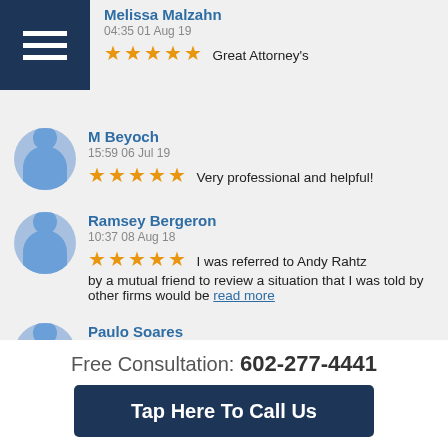[Figure (screenshot): Dark navy hamburger menu button in top-left corner with three horizontal white lines]
Melissa Malzahn
04:35 01 Aug 19
★★★★★ Great Attorney's
M Beyoch
15:59 06 Jul 19
★★★★★ Very professional and helpful!
Ramsey Bergeron
10:37 08 Aug 18
★★★★★ I was referred to Andy Rahtz by a mutual friend to review a situation that I was told by other firms would be read more
Paulo Soares
01:38 11 Jul 18
★★★★★ Mr. Westby really knows his stuff, and gave me some excellent advice.  I will
Free Consultation: 602-277-4441
Tap Here To Call Us